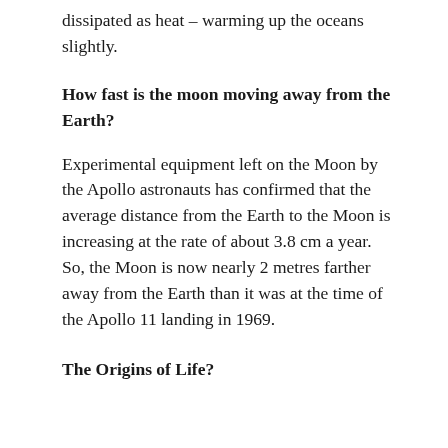dissipated as heat – warming up the oceans slightly.
How fast is the moon moving away from the Earth?
Experimental equipment left on the Moon by the Apollo astronauts has confirmed that the average distance from the Earth to the Moon is increasing at the rate of about 3.8 cm a year. So, the Moon is now nearly 2 metres farther away from the Earth than it was at the time of the Apollo 11 landing in 1969.
The Origins of Life?